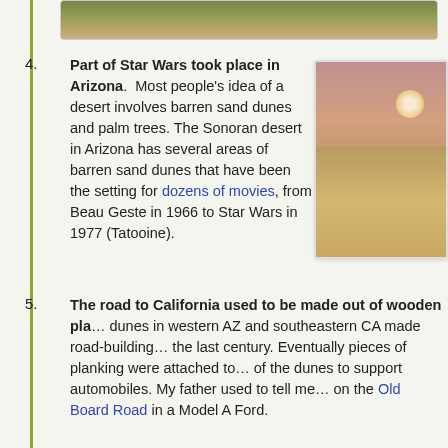[Figure (photo): Partial top image of desert/nature scene, cropped at top of page]
[Figure (photo): Desert dunes with pink/purple sky and sun, Tatooine-like landscape]
4. Part of Star Wars took place in Arizona. Most people's idea of a desert involves barren sand dunes and palm trees. The Sonoran desert in Arizona has several areas of barren sand dunes that have been the setting for dozens of movies, from Beau Geste in 1966 to Star Wars in 1977 (Tatooine).
5. The road to California used to be made out of wooden pla... dunes in western AZ and southeastern CA made road-building... the last century. Eventually pieces of planking were attached to... of the dunes to support automobiles. My father used to tell me... on the Old Board Road in a Model A Ford.